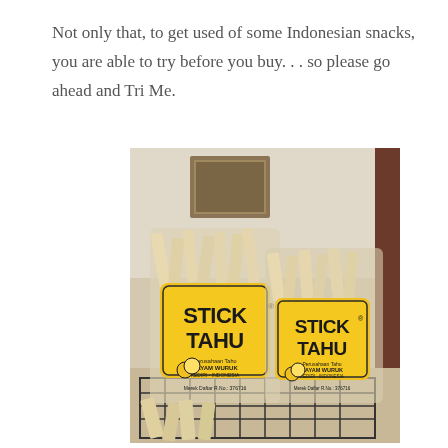Not only that, to get used of some Indonesian snacks, you are able to try before you buy. . . so please go ahead and Tri Me.
[Figure (photo): Two bags of 'Stick Tahu' Indonesian tofu stick snacks with yellow labels showing 'Perusahaan Tahu HAYAM WURUK' branding, sitting in a wire basket on a counter.]